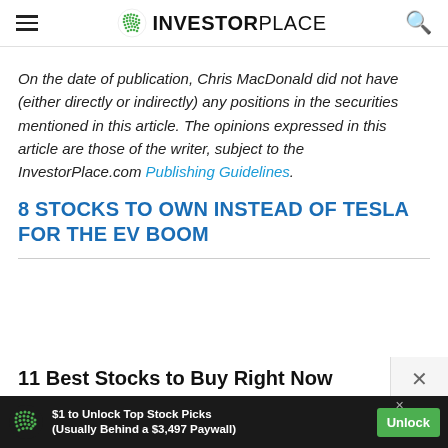INVESTORPLACE
On the date of publication, Chris MacDonald did not have (either directly or indirectly) any positions in the securities mentioned in this article. The opinions expressed in this article are those of the writer, subject to the InvestorPlace.com Publishing Guidelines.
8 STOCKS TO OWN INSTEAD OF TESLA FOR THE EV BOOM
11 Best Stocks to Buy Right Now
$1 to Unlock Top Stock Picks (Usually Behind a $3,497 Paywall)